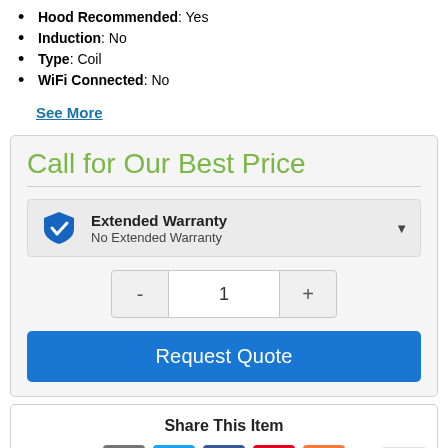Hood Recommended: Yes
Induction: No
Type: Coil
WiFi Connected: No
See More
Call for Our Best Price
Extended Warranty - No Extended Warranty
Quantity: 1
Request Quote
Share This Item